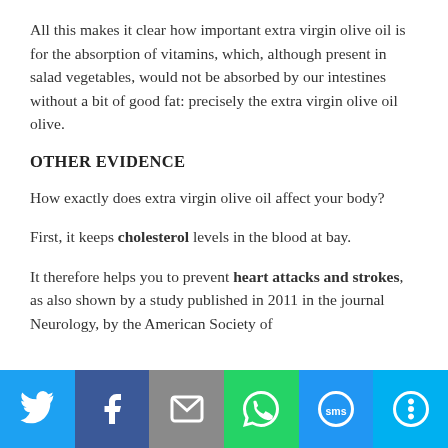All this makes it clear how important extra virgin olive oil is for the absorption of vitamins, which, although present in salad vegetables, would not be absorbed by our intestines without a bit of good fat: precisely the extra virgin olive oil olive.
OTHER EVIDENCE
How exactly does extra virgin olive oil affect your body?
First, it keeps cholesterol levels in the blood at bay.
It therefore helps you to prevent heart attacks and strokes, as also shown by a study published in 2011 in the journal Neurology, by the American Society of
[Figure (infographic): Social sharing bar with six buttons: Twitter (blue), Facebook (dark blue), Email (gray), WhatsApp (green), SMS (blue), More (light blue). Each button shows a white icon.]